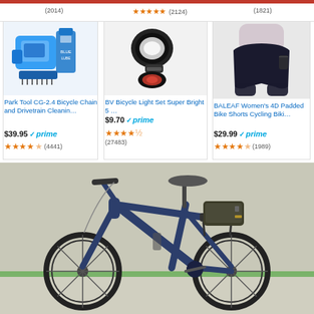(2014) ... ★★★★★ (2124) ... (1821)
[Figure (photo): Park Tool CG-2.4 bicycle chain cleaning tool kit with blue plastic chain scrubber and bottle of lubricant]
Park Tool CG-2.4 Bicycle Chain and Drivetrain Cleanin…
$39.95 ✓prime
★★★★☆ (4441)
[Figure (photo): BV Bicycle Light Set with black front headlight and red rear light]
BV Bicycle Light Set Super Bright 5 …
$9.70 ✓prime
★★★★½ (27483)
[Figure (photo): BALEAF Women's 4D Padded Bike Shorts showing side pocket detail on black cycling shorts]
BALEAF Women's 4D Padded Bike Shorts Cycling Biki…
$29.99 ✓prime
★★★★☆ (1989)
[Figure (photo): Dark blue electric city bicycle parked on a sidewalk, with rear cargo rack and battery pack]